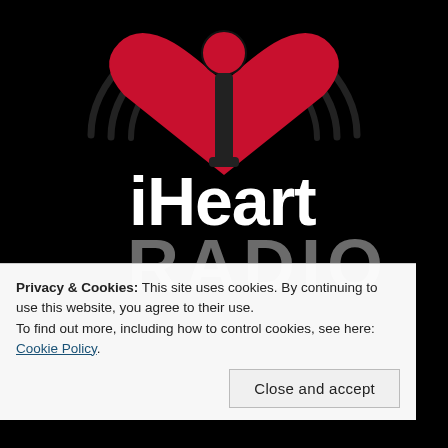[Figure (logo): iHeartRadio logo on black background. Red heart-shaped icon with radio signal waves at top and a microphone silhouette in the center. White bold text 'iHeart' below the icon, and large gray text 'RADIO' below that.]
Privacy & Cookies: This site uses cookies. By continuing to use this website, you agree to their use.
To find out more, including how to control cookies, see here: Cookie Policy
Close and accept